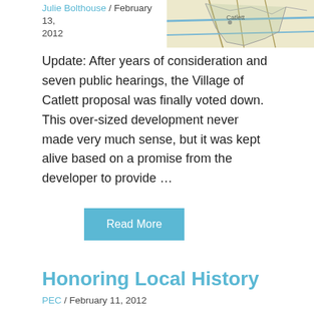Julie Bolthouse / February 13, 2012
[Figure (map): A partial map showing the area around Catlett, Virginia]
Update:  After years of consideration and seven public hearings, the Village of Catlett proposal was finally voted down. This over-sized development never made very much sense, but it was kept alive based on a promise from the developer to provide …
Read More
Honoring Local History
PEC / February 11, 2012
'This part of northern Virginia has soaked up more of the blood, sweat and tears of American history than any other part of the country.' --Late Yale historian C.